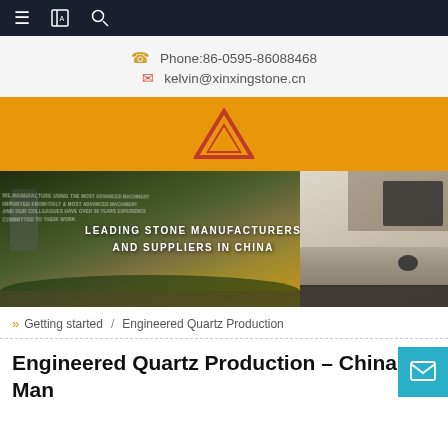Navigation bar with menu, translate, and search icons
Phone:86-0595-86088468
kelvin@xinxingstone.cn
[Figure (logo): Orange banner with red triangle logo (Xinxing Stone brand mark)]
[Figure (photo): Hero banner showing aerial view of stone factory on left and modern interior countertop on right, with text: LEADING STONE MANUFACTURERS AND SUPPLIERS IN CHINA]
Getting started / Engineered Quartz Production
Engineered Quartz Production – China Manufacturers, Suppliers, Factory